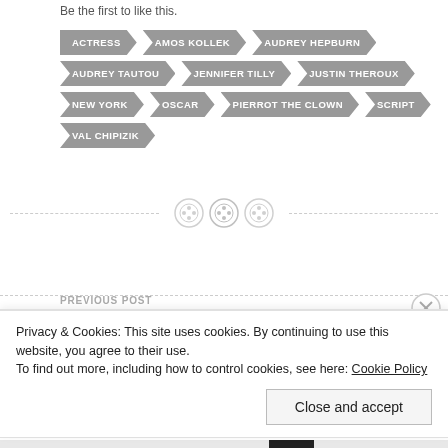Be the first to like this.
ACTRESS
AMOS KOLLEK
AUDREY HEPBURN
AUDREY TAUTOU
JENNIFER TILLY
JUSTIN THEROUX
NEW YORK
OSCAR
PIERROT THE CLOWN
SCRIPT
VAL CHIPIZIK
[Figure (illustration): Three button icons as a horizontal divider between sections]
PREVIOUS POST
The Story of Luke
Privacy & Cookies: This site uses cookies. By continuing to use this website, you agree to their use.
To find out more, including how to control cookies, see here: Cookie Policy
Close and accept